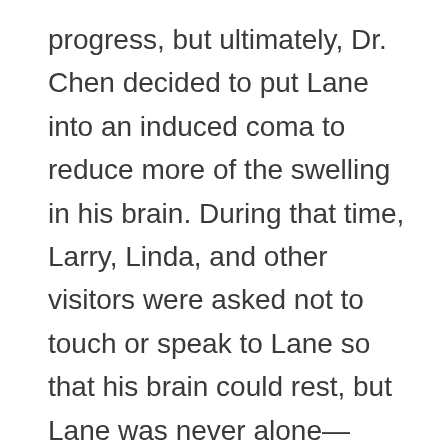progress, but ultimately, Dr. Chen decided to put Lane into an induced coma to reduce more of the swelling in his brain. During that time, Larry, Linda, and other visitors were asked not to touch or speak to Lane so that his brain could rest, but Lane was never alone—someone was always keeping him company.
The Kirks have always been a tightknit family. Even though Lane's brother,